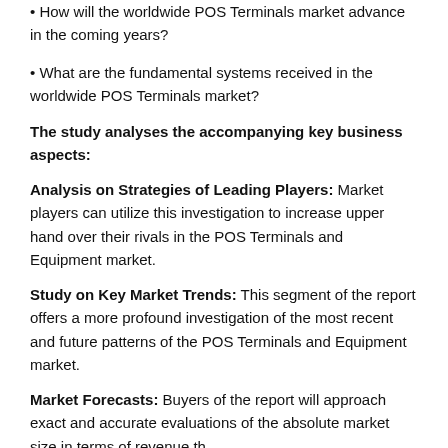• How will the worldwide POS Terminals market advance in the coming years?
• What are the fundamental systems received in the worldwide POS Terminals market?
The study analyses the accompanying key business aspects:
Analysis on Strategies of Leading Players: Market players can utilize this investigation to increase upper hand over their rivals in the POS Terminals and Equipment market.
Study on Key Market Trends: This segment of the report offers a more profound investigation of the most recent and future patterns of the POS Terminals and Equipment market.
Market Forecasts: Buyers of the report will approach exact and accurate evaluations of the absolute market size in terms of revenue the